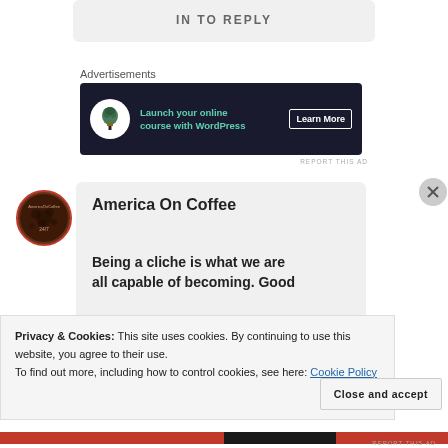IN TO REPLY
Advertisements
[Figure (infographic): Dark navy ad banner: bonsai tree icon, text 'Launch your online course with WordPress', Learn More button]
REPORT THIS AD
[Figure (photo): AmericaOnCoffee circular logo with coffee beans]
America On Coffee
Being a cliche is what we are all capable of becoming. Good
Privacy & Cookies: This site uses cookies. By continuing to use this website, you agree to their use.
To find out more, including how to control cookies, see here: Cookie Policy
Close and accept